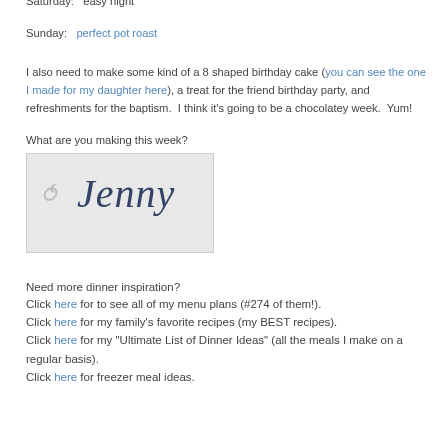Friday:  white chicken chili
Saturday:  easy night
Sunday:  perfect pot roast
I also need to make some kind of a 8 shaped birthday cake (you can see the one I made for my daughter here), a treat for the friend birthday party, and refreshments for the baptism.  I think it's going to be a chocolatey week.  Yum!
What are you making this week?
[Figure (illustration): Handwritten signature reading 'Jenny' with a small decorative swirl/smile, on a light grey background]
Need more dinner inspiration?
Click here for to see all of my menu plans (#274 of them!).
Click here for my family's favorite recipes (my BEST recipes).
Click here for my "Ultimate List of Dinner Ideas" (all the meals I make on a regular basis).
Click here for freezer meal ideas.